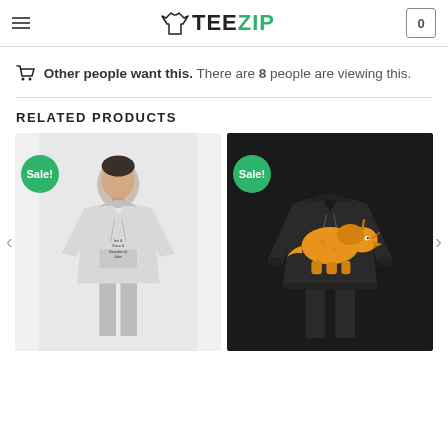TEEZIP
Other people want this. There are 8 people are viewing this.
RELATED PRODUCTS
[Figure (photo): Gray hoodie worn by a man, with Sale! badge overlay]
[Figure (photo): Black hoodie with orange triceratops dinosaur graphic, with Sale! badge overlay]